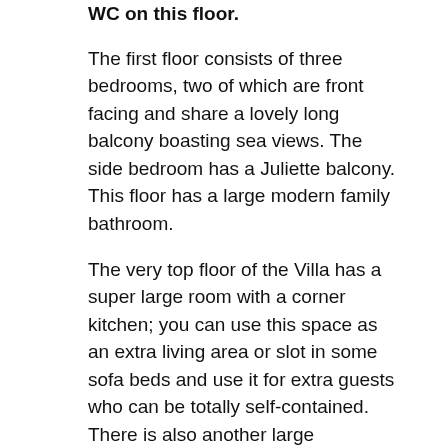WC on this floor.
The first floor consists of three bedrooms, two of which are front facing and share a lovely long balcony boasting sea views. The side bedroom has a Juliette balcony. This floor has a large modern family bathroom.
The very top floor of the Villa has a super large room with a corner kitchen; you can use this space as an extra living area or slot in some sofa beds and use it for extra guests who can be totally self-contained. There is also another large bathroom on this floor. A roof terrace with fantastic sea views completes this lovely spacious Villa.
Outside the Villa enjoys garden areas to all four sides and a large car parking space. There is also plenty of space to add in a pool.